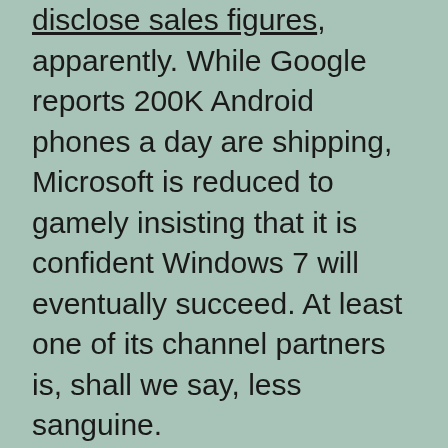disclose sales figures, apparently. While Google reports 200K Android phones a day are shipping, Microsoft is reduced to gamely insisting that it is confident Windows 7 will eventually succeed. At least one of its channel partners is, shall we say, less sanguine.
James Choi, a strategist at handset maker LG, says “From an industry perspective we had a high expectation, but from a consumer point of view the visibility is less than we expected”. Choi holds out some hope that WP7 will make better sales as it is ported to less expensive handsets, but that hope itself suggests the